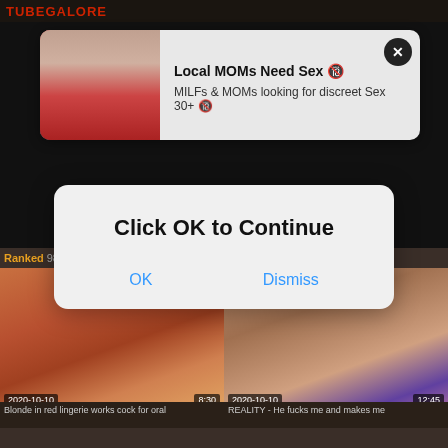TUBEGALORE
[Figure (screenshot): Adult video website screenshot showing a video player with loading spinner, two video thumbnails at bottom with dates 2020-10-10 and durations 8:30 and 12:45]
[Figure (screenshot): Ad notification banner: 'Local MOMs Need Sex' / 'MILFs & MOMs looking for discreet Sex 30+' with woman in red dress image and close button]
Local MOMs Need Sex 🔞
MILFs & MOMs looking for discreet Sex 30+ 🔞
Ranked 9801 e... free casting p...
[Figure (screenshot): Modal dialog popup with text 'Click OK to Continue' and two buttons: OK and Dismiss]
Click OK to Continue
Blonde in red lingerie works cock for oral
REALITY - He fucks me and makes me